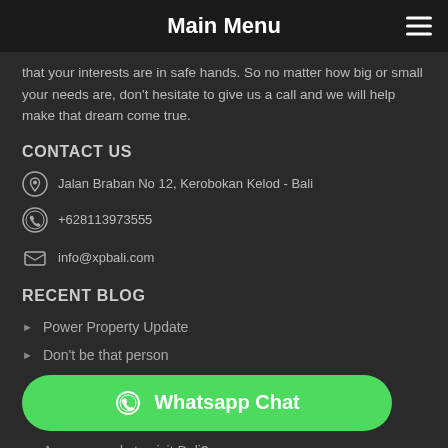Main Menu
that your interests are in safe hands. So no matter how big or small your needs are, don't hesitate to give us a call and we will help make that dream come true.
CONTACT US
Jalan Braban No 12, Kerobokan Kelod - Bali
+628113973555
info@xpbali.com
RECENT BLOG
Power Property Update
Don't be that person
[Figure (other): Whatsapp Chat button in green]
Are you ready to visit Bali?